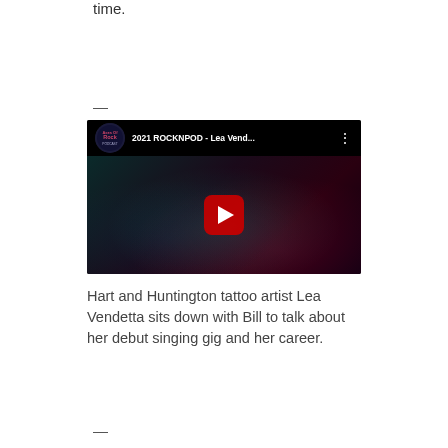time.
—
[Figure (screenshot): YouTube video thumbnail showing '2021 ROCKNPOD - Lea Vend...' with a tattooed woman against a dark background and a red play button in the center. The channel logo for 'Axes of Rock Podcast' is visible in the top-left corner.]
Hart and Huntington tattoo artist Lea Vendetta sits down with Bill to talk about her debut singing gig and her career.
—